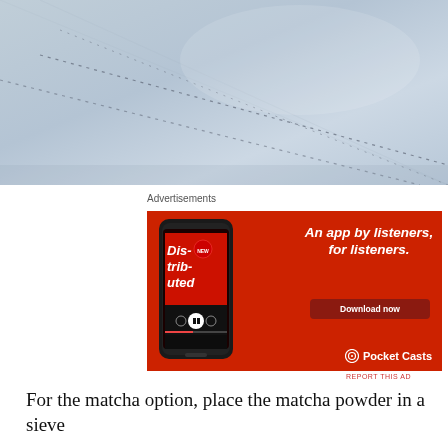[Figure (photo): Close-up photo of light blue fabric with dotted stitch lines running diagonally]
Advertisements
[Figure (screenshot): Pocket Casts advertisement on red background showing a smartphone with the app open displaying 'Distributed' podcast. Text reads: 'An app by listeners, for listeners.' with a 'Download now' button and the Pocket Casts logo at bottom right.]
REPORT THIS AD
For the matcha option, place the matcha powder in a sieve